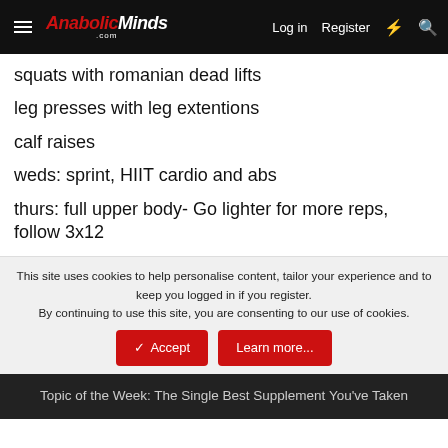AnabolicMinds.com | Log in | Register
squats with romanian dead lifts
leg presses with leg extentions
calf raises
weds: sprint, HIIT cardio and abs
thurs: full upper body- Go lighter for more reps, follow 3x12
This site uses cookies to help personalise content, tailor your experience and to keep you logged in if you register.
By continuing to use this site, you are consenting to our use of cookies.
Topic of the Week: The Single Best Supplement You've Taken